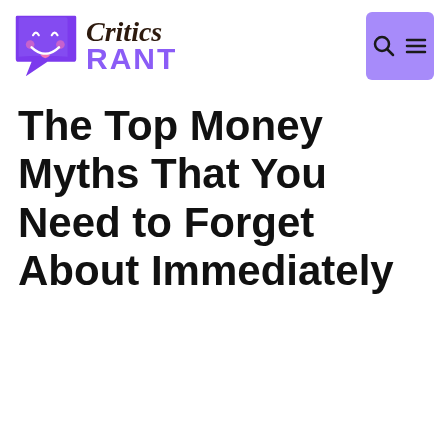[Figure (logo): Critics Rant logo with purple speech bubble mascot character and site name]
The Top Money Myths That You Need to Forget About Immediately